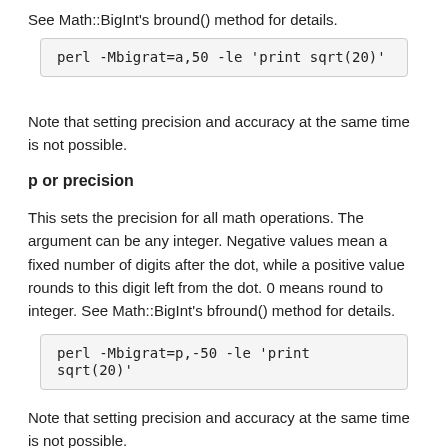See Math::BigInt's bround() method for details.
perl -Mbigrat=a,50 -le 'print sqrt(20)'
Note that setting precision and accuracy at the same time is not possible.
p or precision
This sets the precision for all math operations. The argument can be any integer. Negative values mean a fixed number of digits after the dot, while a positive value rounds to this digit left from the dot. 0 means round to integer. See Math::BigInt's bfround() method for details.
perl -Mbigrat=p,-50 -le 'print sqrt(20)'
Note that setting precision and accuracy at the same time is not possible.